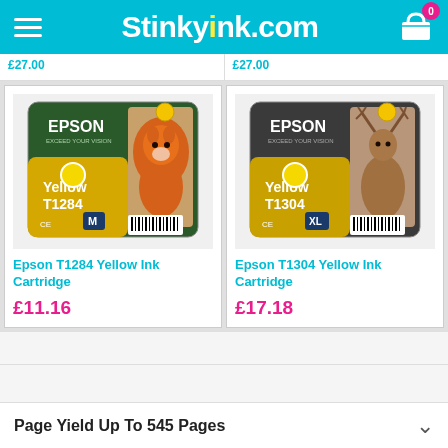Stinkyink.com
[Figure (photo): Epson T1284 Yellow Ink Cartridge product image showing fox on packaging]
Epson T1284 Yellow Ink Cartridge
£11.16
[Figure (photo): Epson T1304 Yellow Ink Cartridge product image showing stag on packaging]
Epson T1304 Yellow Ink Cartridge
£17.18
Page Yield Up To 545 Pages